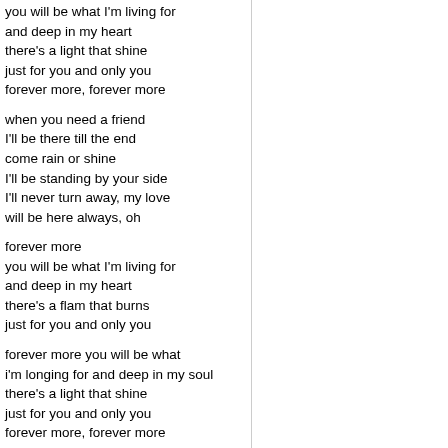you will be what I'm living for
and deep in my heart
there's a light that shine
just for you and only you
forever more, forever more
when you need a friend
I'll be there till the end
come rain or shine
I'll be standing by your side
I'll never turn away, my love
will be here always, oh
forever more
you will be what I'm living for
and deep in my heart
there's a flam that burns
just for you and only you
forever more you will be what
i'm longing for and deep in my soul
there's a light that shine
just for you and only you
forever more, forever more
never felt this way before, until you
made sweet love to me, oh baby
your the one my heart adores
the only man I need- forever more